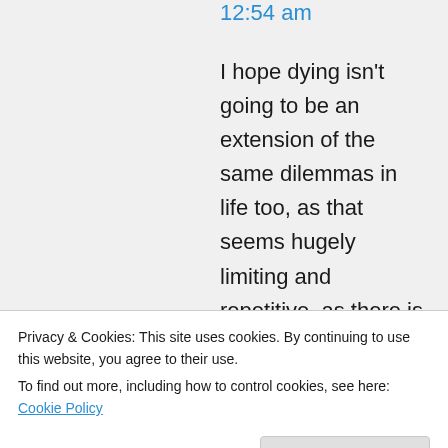12:54 am
I hope dying isn't going to be an extension of the same dilemmas in life too, as that seems hugely limiting and repetitive, as there is a huge vast cosmos to discover, explore and learn from in both in physical and non-physical realms. All I can say about the tunnel is that through all our technologies, we can not see it, and we have some very
Privacy & Cookies: This site uses cookies. By continuing to use this website, you agree to their use.
To find out more, including how to control cookies, see here: Cookie Policy
Close and accept
612/ and our understanding of dark